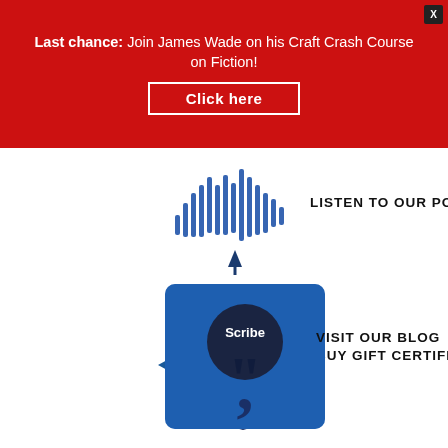[Figure (infographic): Red promotional banner with text: Last chance: Join James Wade on his Craft Crash Course on Fiction! with a Click here button and X close button]
[Figure (logo): Blue audio waveform icon shaped like a pencil/microphone]
LISTEN TO OUR PODCAST
[Figure (logo): Navy blue gift tag shape with WLT logo in white text]
BUY GIFT CERTIFICATES
[Figure (illustration): Blue image with Scribe text and comma/apostrophe mark representing a blog]
VISIT OUR BLOG